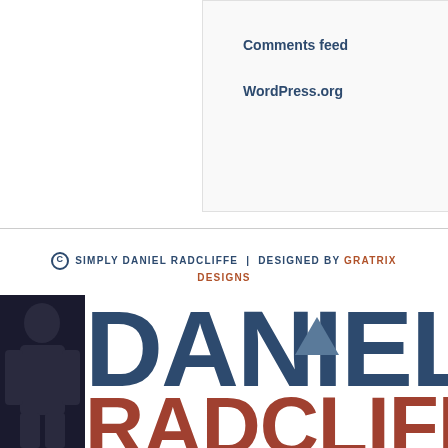Comments feed
WordPress.org
© SIMPLY DANIEL RADCLIFFE | DESIGNED BY GRATRIX DESIGNS
[Figure (logo): Daniel Radcliffe fan site logo with large bold text DANIEL in dark navy blue and RADCLIFFE in brown/rust color, with a silhouette of a person on the left side]